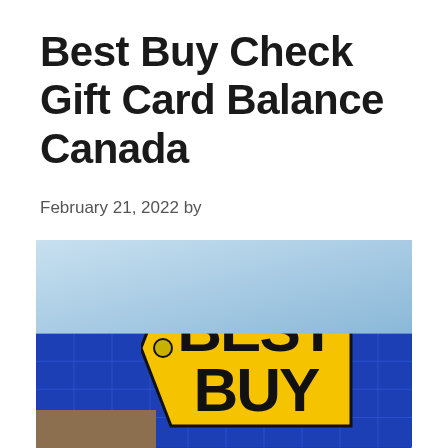Best Buy Check Gift Card Balance Canada
February 21, 2022 by
[Figure (photo): Photograph of a Best Buy store exterior showing the iconic yellow price-tag shaped Best Buy logo sign on a blue wall with sky in background and brick facade at the bottom.]